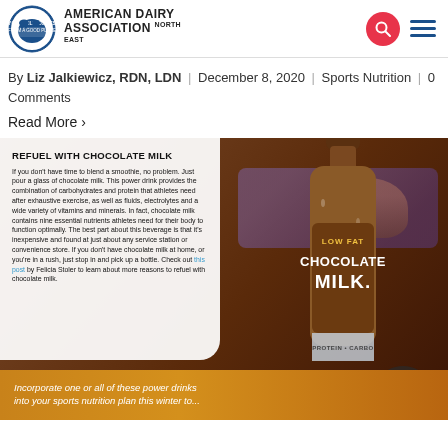American Dairy Association North East
By Liz Jalkiewicz, RDN, LDN | December 8, 2020 | Sports Nutrition | 0 Comments
Read More >
[Figure (photo): Chocolate milk bottle (Low Fat Chocolate Milk) with gym background and text card: REFUEL WITH CHOCOLATE MILK. If you don't have time to blend a smoothie, no problem. Just pour a glass of chocolate milk. This power drink provides the combination of carbohydrates and protein that athletes need after exhaustive exercise, as well as fluids, electrolytes and a wide variety of vitamins and minerals. In fact, chocolate milk contains nine essential nutrients athletes need for their body to function optimally. The best part about this beverage is that it's inexpensive and found at just about any service station or convenience store. If you don't have chocolate milk at home, or you're in a rush, just stop in and pick up a bottle. Check out this post by Felicia Stoler to learn about more reasons to refuel with chocolate milk.]
Incorporate one or all of these power drinks into your sports nutrition plan this winter to...